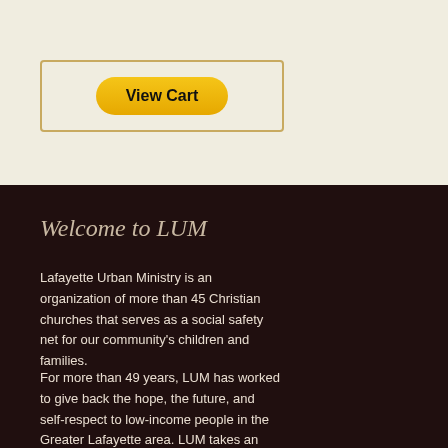[Figure (other): PayPal View Cart button inside a bordered box on a light beige background]
Welcome to LUM
Lafayette Urban Ministry is an organization of more than 45 Christian churches that serves as a social safety net for our community's children and families.
For more than 49 years, LUM has worked to give back the hope, the future, and self-respect to low-income people in the Greater Lafayette area. LUM takes an active role in